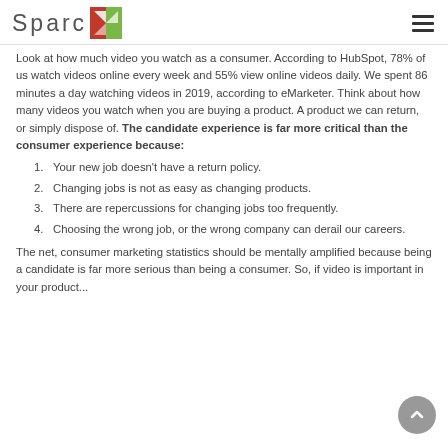Sparc [logo]
Look at how much video you watch as a consumer. According to HubSpot, 78% of us watch videos online every week and 55% view online videos daily. We spent 86 minutes a day watching videos in 2019, according to eMarketer. Think about how many videos you watch when you are buying a product. A product we can return, or simply dispose of. The candidate experience is far more critical than the consumer experience because:
Your new job doesn't have a return policy.
Changing jobs is not as easy as changing products.
There are repercussions for changing jobs too frequently.
Choosing the wrong job, or the wrong company can derail our careers.
The net, consumer marketing statistics should be mentally amplified because being a candidate is far more serious than being a consumer. So, if video is important in your product...